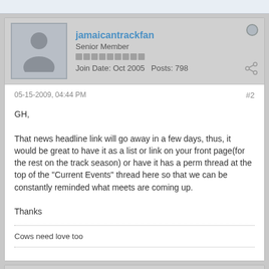jamaicantrackfan
Senior Member
Join Date: Oct 2005   Posts: 798
05-15-2009, 04:44 PM
#2
GH,

That news headline link will go away in a few days, thus, it would be great to have it as a list or link on your front page(for the rest on the track season) or have it has a perm thread at the top of the "Current Events" thread here so that we can be constantly reminded what meets are coming up.

Thanks

Cows need love too
ExCoastRanger
Senior Member